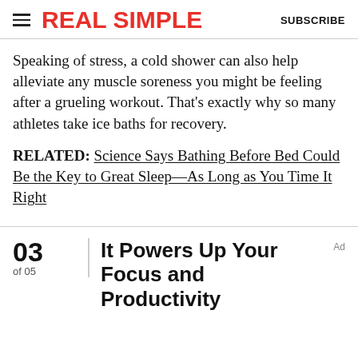REAL SIMPLE  SUBSCRIBE
Speaking of stress, a cold shower can also help alleviate any muscle soreness you might be feeling after a grueling workout. That's exactly why so many athletes take ice baths for recovery.
RELATED: Science Says Bathing Before Bed Could Be the Key to Great Sleep—As Long as You Time It Right
03 of 05  It Powers Up Your Focus and Productivity